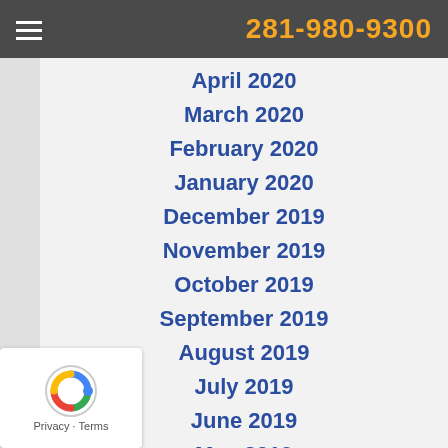281-980-9300
April 2020
March 2020
February 2020
January 2020
December 2019
November 2019
October 2019
September 2019
August 2019
July 2019
June 2019
May 2019
April 2019